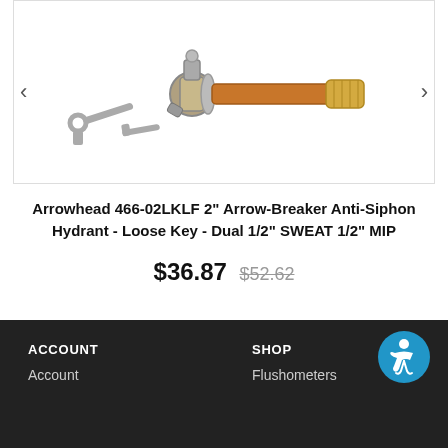[Figure (photo): Arrowhead 466-02LKLF anti-siphon hydrant with loose key, copper tube body and brass MIP fitting, shown with a separate T-handle key]
Arrowhead 466-02LKLF 2" Arrow-Breaker Anti-Siphon Hydrant - Loose Key - Dual 1/2" SWEAT 1/2" MIP
$36.87  $52.62
ACCOUNT  Account  SHOP  Flushometers